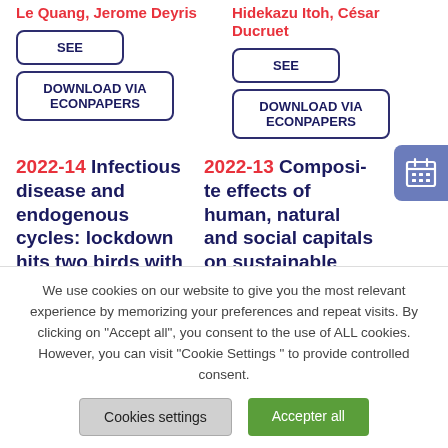Le Quang, Jerome Deyris
Hidekazu Itoh, César Ducruet
SEE
DOWNLOAD VIA ECONPAPERS
SEE
DOWNLOAD VIA ECONPAPERS
2022-14 Infectious disease and endogenous cycles: lockdown hits two birds with one stone
2022-13 Composite effects of human, natural and social capitals on sustainable food-crop
We use cookies on our website to give you the most relevant experience by memorizing your preferences and repeat visits. By clicking on "Accept all", you consent to the use of ALL cookies. However, you can visit "Cookie Settings " to provide controlled consent.
Cookies settings
Accepter all